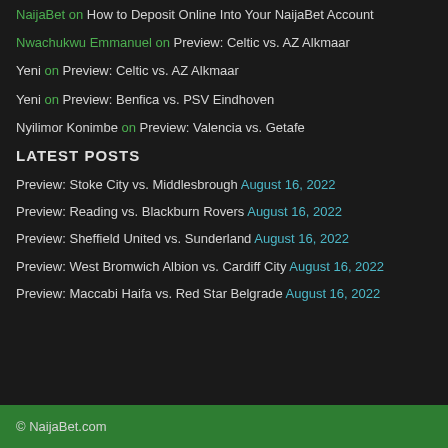NaijaBet on How to Deposit Online Into Your NaijaBet Account
Nwachukwu Emmanuel on Preview: Celtic vs. AZ Alkmaar
Yeni on Preview: Celtic vs. AZ Alkmaar
Yeni on Preview: Benfica vs. PSV Eindhoven
Nyilimor Konimbe on Preview: Valencia vs. Getafe
LATEST POSTS
Preview: Stoke City vs. Middlesbrough August 16, 2022
Preview: Reading vs. Blackburn Rovers August 16, 2022
Preview: Sheffield United vs. Sunderland August 16, 2022
Preview: West Bromwich Albion vs. Cardiff City August 16, 2022
Preview: Maccabi Haifa vs. Red Star Belgrade August 16, 2022
© NaijaBet.com